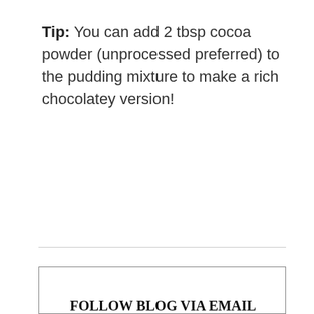Tip: You can add 2 tbsp cocoa powder (unprocessed preferred) to the pudding mixture to make a rich chocolatey version!
FOLLOW BLOG VIA EMAIL AND GET NUTRITION INFORMATION YOU CAN ACTUALLY USE!
Enter your email address to follow this blog and receive